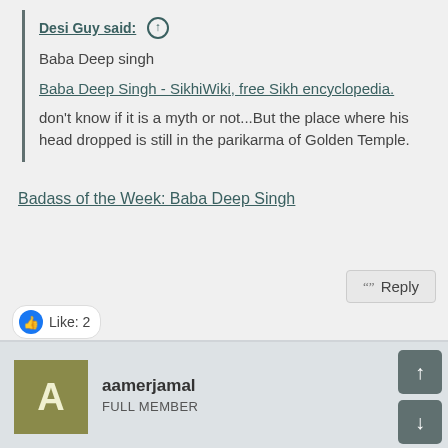Desi Guy said: ↑
Baba Deep singh
Baba Deep Singh - SikhiWiki, free Sikh encyclopedia.
don't know if it is a myth or not...But the place where his head dropped is still in the parikarma of Golden Temple.
Badass of the Week: Baba Deep Singh
Reply
Like: 2
aamerjamal
FULL MEMBER